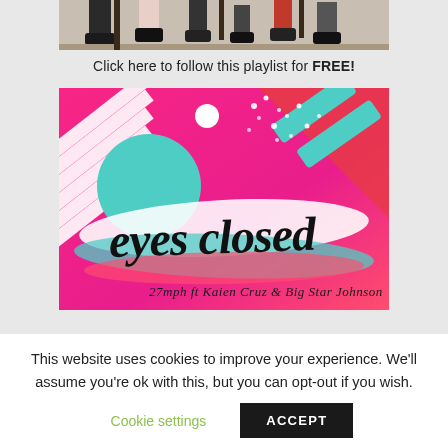[Figure (photo): Partial view of people's legs and feet seated, from the knees down, showing various shoes on a wooden floor background]
Click here to follow this playlist for FREE!
[Figure (illustration): Album art for 'eyes closed' by 27mph ft Kaien Cruz & Big Star Johnson. Colorful retro graphic design with pink, teal/mint, and red elements including diagonal stripes, circles, brush strokes, and script lettering.]
This website uses cookies to improve your experience. We'll assume you're ok with this, but you can opt-out if you wish.
Cookie settings
ACCEPT